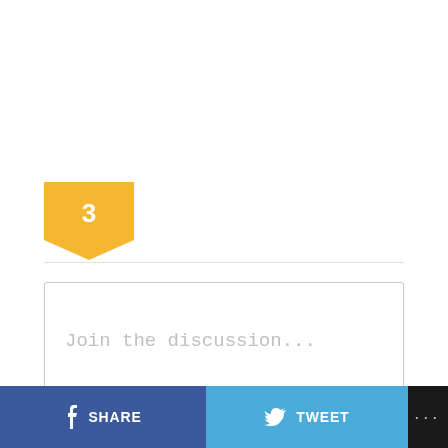[Figure (infographic): Yellow badge/tag shape with number 3 inside, indicating 3 comments]
[Figure (infographic): Comment input text box with placeholder text 'Join the discussion...']
[Figure (infographic): Icon bar with: list icon (3), speech bubble (0), RSS (5), lightning bolt, flame icon, user avatar with count 3]
[Figure (infographic): Sort options: newest, oldest (oldest highlighted in blue)]
[Figure (infographic): Bottom action bar with Facebook SHARE, Twitter TWEET, and more (...) buttons]